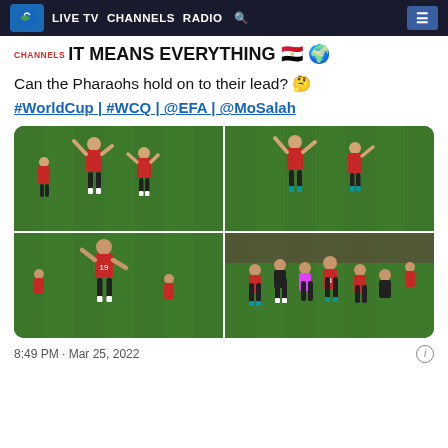LIVE TV   CHANNELS   RADIO   🔍   ≡
IT MEANS EVERYTHING 🇪🇬 🌍
Can the Pharaohs hold on to their lead? 🤔
#WorldCup | #WCQ | @EFA | @MoSalah
[Figure (photo): 4-panel photo grid showing Egyptian national football team players celebrating on a football pitch, wearing red and black kits]
8:49 PM · Mar 25, 2022